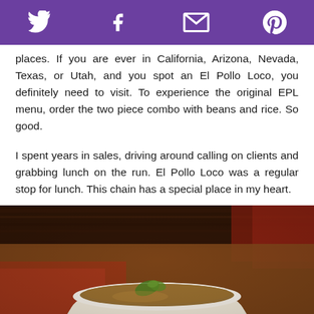Twitter, Facebook, Email, Pinterest social sharing icons
places. If you are ever in California, Arizona, Nevada, Texas, or Utah, and you spot an El Pollo Loco, you definitely need to visit. To experience the original EPL menu, order the two piece combo with beans and rice. So good.
I spent years in sales, driving around calling on clients and grabbing lunch on the run. El Pollo Loco was a regular stop for lunch. This chain has a special place in my heart.
[Figure (photo): A bowl of soup or stew with a garnish, photographed from above at an angle, blurred background with warm brown and red tones]